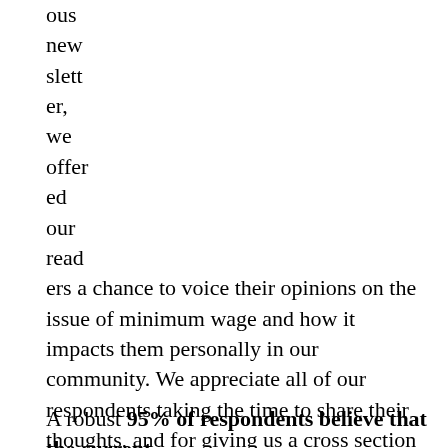ous new slett er, we offer ed our read ers a chance to voice their opinions on the issue of minimum wage and how it impacts them personally in our community. We appreciate all of our respondents taking the time to share their thoughts, and for giving us a cross section of where people stand on the matter locally. We discuss in this article some trends in responses when parsing the results.
A robust 95% of respondents believe that the current